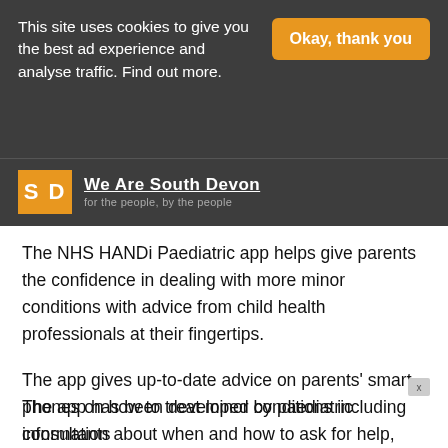This site uses cookies to give you the best ad experience and analyse traffic. Find out more. | Okay, thank you
[Figure (logo): We Are South Devon logo — orange SD box with white text, and site name 'We Are South Devon / for the people, by the people']
The NHS HANDi Paediatric app helps give parents the confidence in dealing with more minor conditions with advice from child health professionals at their fingertips.
The app gives up-to-date advice on parents' smart phones on how to treat minor conditions including information about when and how to ask for help, along with what to expect when their child is being assessed by a doctor or nurse.
The app has been developed by paediatric consultants